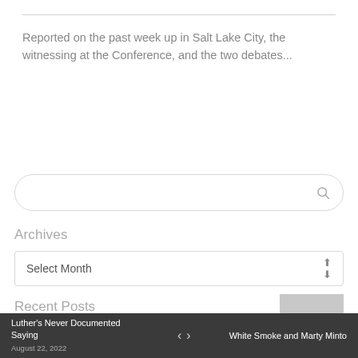Reported on the past week up in Salt Lake City, the witnessing at the Conference, and the two debates...
[Figure (other): Search input box with rounded pill shape and magnifying glass icon on the right]
Archives
[Figure (other): Dropdown select box labeled 'Select Month' with up/down arrow indicator]
[Figure (other): Back to top button - grey square with upward chevron arrow]
Recent Posts
Luther's Never Documented Saying   ‹ ›   White Smoke and Marty Minto
August 22, 2022